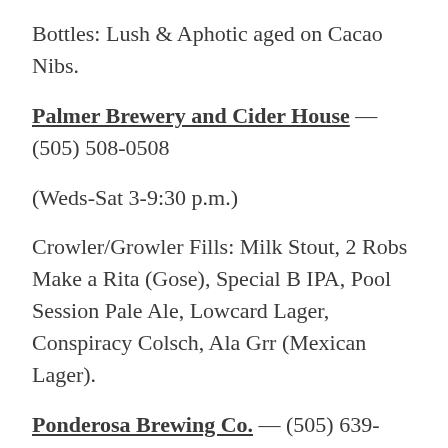Bottles: Lush & Aphotic aged on Cacao Nibs.
Palmer Brewery and Cider House — (505) 508-0508
(Weds-Sat 3-9:30 p.m.)
Crowler/Growler Fills: Milk Stout, 2 Robs Make a Rita (Gose), Special B IPA, Pool Session Pale Ale, Lowcard Lager, Conspiracy Colsch, Ala Grr (Mexican Lager).
Ponderosa Brewing Co. — (505) 639-5941 (brewery), (505) 361-1669 (El Vado Taproom)
(Brewery: daily 11:30 a.m.–8 p.m.; El Vado Taproom: Mon-Weds noon-7 p.m., Thurs-Sun